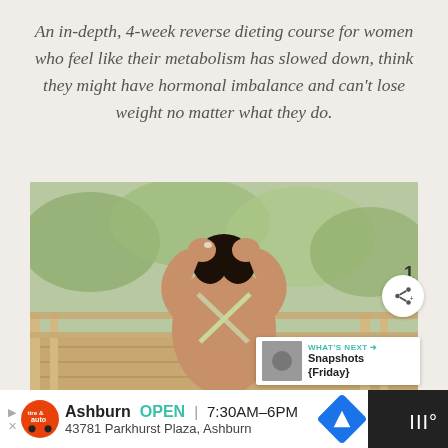An in-depth, 4-week reverse dieting course for women who feel like their metabolism has slowed down, think they might have hormonal imbalance and can't lose weight no matter what they do.
[Figure (photo): Woman seen from behind wearing a criss-cross back sports bra, with hands raised to her head, standing outdoors on a wooden deck surrounded by trees. UI overlays include a teal heart icon, share icon with count 1, and a 'What's Next' card showing 'Snapshots {Friday}'.]
Ashburn OPEN | 7:30AM–6PM 43781 Parkhurst Plaza, Ashburn